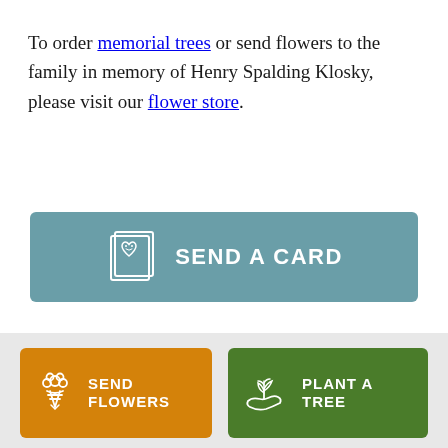To order memorial trees or send flowers to the family in memory of Henry Spalding Klosky, please visit our flower store.
[Figure (other): A teal/blue-green button labeled SEND A CARD with a greeting card icon showing a heart with a face]
[Figure (other): Footer bar with two buttons: orange SEND FLOWERS button with flower bouquet icon, and green PLANT A TREE button with hand holding a plant icon]